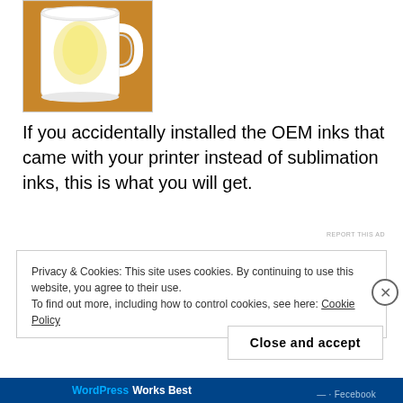[Figure (photo): A white coffee mug with a faint yellow/light design on it, sitting on a wooden surface. The mug appears to have an unsuccessful sublimation print result.]
If you accidentally installed the OEM inks that came with your printer instead of sublimation inks, this is what you will get.
REPORT THIS AD
Privacy & Cookies: This site uses cookies. By continuing to use this website, you agree to their use.
To find out more, including how to control cookies, see here: Cookie Policy
Close and accept
WordPress Works Best